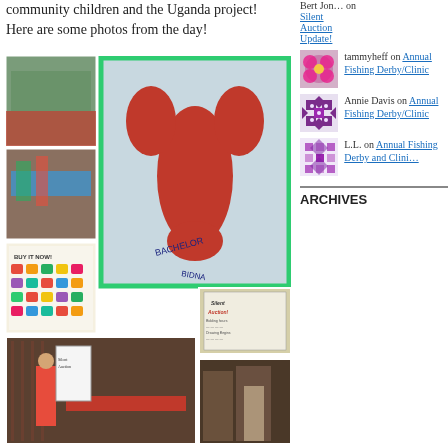community children and the Uganda project! Here are some photos from the day!
[Figure (photo): Collection of silent auction event photos: tables with auction items, lobster painting artwork, buy it now board, venue interior shots, and auction signs]
Bert Jon… on
Silent Auction Update!
[Figure (photo): Pink flowers avatar for tammyheff]
tammyheff on Annual Fishing Derby/Clinic
[Figure (photo): Purple geometric pattern avatar for Annie Davis]
Annie Davis on Annual Fishing Derby/Clinic
[Figure (photo): Purple diamond pattern avatar for L.L.]
L.L. on Annual Fishing Derby and Clini…
ARCHIVES